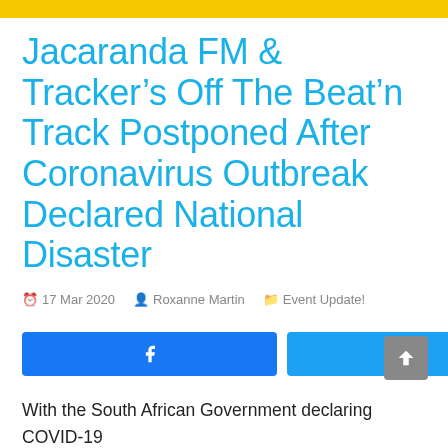Jacaranda FM & Tracker’s Off The Beat’n Track Postponed After Coronavirus Outbreak Declared National Disaster
17 Mar 2020  Roxanne Martin  Event Update!
With the South African Government declaring COVID-19 a national disaster and putting strict interventions in